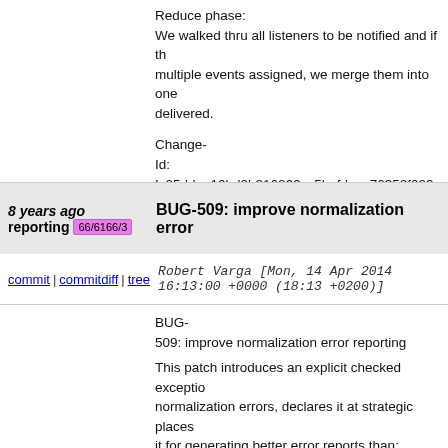Reduce phase:
We walked thru all listeners to be notified and if the multiple events assigned, we merge them into one delivered.
Change-
Id: Ic05ddae10bd0b316009cc5bafdeca76350f003
Signed-off-by: Tony Tkacik <ttkacik@cisco.com>
8 years ago
reporting 66/6166/3
BUG-509: improve normalization error
commit | commitdiff | tree   Robert Varga [Mon, 14 Apr 2014 16:13:00 +0000 (18:13 +0200)]
BUG-
509: improve normalization error reporting

This patch introduces an explicit checked exception normalization errors, declares it at strategic places it for generating better error reports than:

Caused by: java.lang.IllegalArgumentException: S revision=2014-01-13)initiation is not valid according to schema conta

Change-
Id: I2020c9e6ef85035259558a32f141a132b6321e
Signed-off-by: Robert Varga